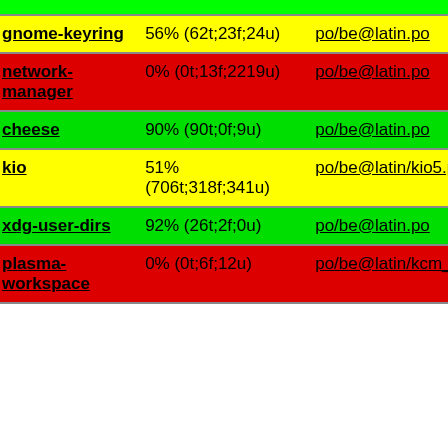| Package | Status | File |
| --- | --- | --- |
| gnome-keyring | 56% (62t;23f;24u) | po/be@latin.po |
| network-manager | 0% (0t;13f;2219u) | po/be@latin.po |
| cheese | 90% (90t;0f;9u) | po/be@latin.po |
| kio | 51% (706t;318f;341u) | po/be@latin/kio5.po |
| xdg-user-dirs | 92% (26t;2f;0u) | po/be@latin.po |
| plasma-workspace | 0% (0t;6f;12u) | po/be@latin/kcm_au... |